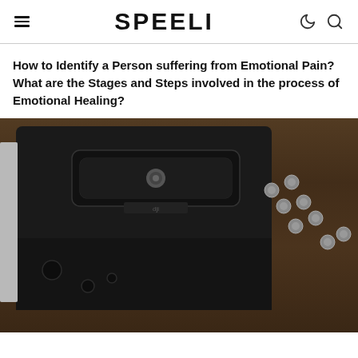SPEELI
How to Identify a Person suffering from Emotional Pain? What are the Stages and Steps involved in the process of Emotional Healing?
[Figure (photo): Close-up photo of a black camera rig/cage with screws and mounting hardware on a wooden surface]